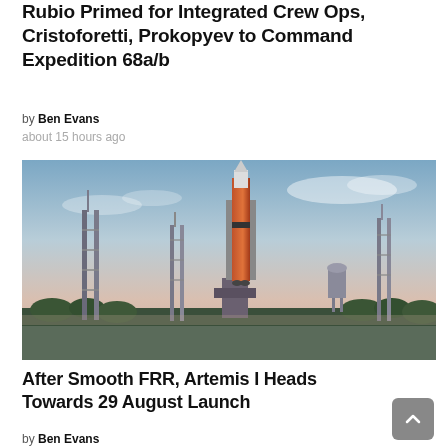Rubio Primed for Integrated Crew Ops, Cristoforetti, Prokopyev to Command Expedition 68a/b
by Ben Evans
about 15 hours ago
[Figure (photo): Artemis I Space Launch System rocket on the launch pad at dusk, with lightning towers visible on either side and trees in the foreground.]
After Smooth FRR, Artemis I Heads Towards 29 August Launch
by Ben Evans